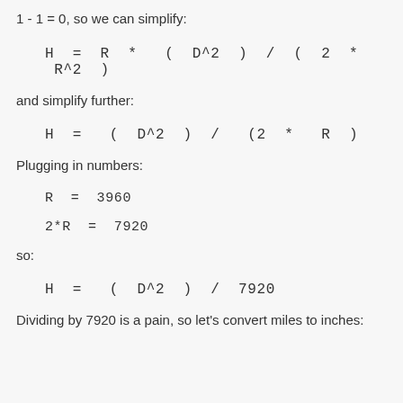1 - 1 = 0, so we can simplify:
and simplify further:
Plugging in numbers:
so:
Dividing by 7920 is a pain, so let's convert miles to inches: